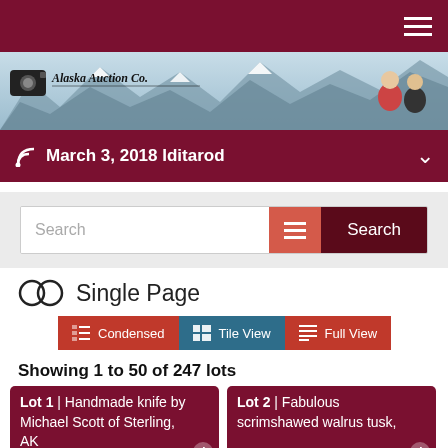Navigation bar with hamburger menu
[Figure (screenshot): Alaska Auction Co. banner with mountain background and two people on right side]
March 3, 2018 Iditarod
[Figure (screenshot): Search bar with filter and search buttons]
Single Page
Condensed | Tile View | Full View
Showing 1 to 50 of 247 lots
Lot 1 | Handmade knife by Michael Scott of Sterling, AK
Lot 2 | Fabulous scrimshawed walrus tusk,